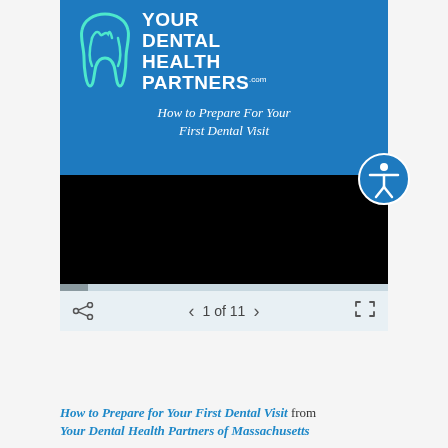[Figure (screenshot): A blue slideshow slide with 'YOUR DENTAL HEALTH PARTNERS.com' logo and tooth icon, subtitle 'How to Prepare For Your First Dental Visit'. Below is a black video/slideshow area with an accessibility icon, a progress bar, and navigation controls showing '1 of 11'.]
How to Prepare for Your First Dental Visit from Your Dental Health Partners of Massachusetts